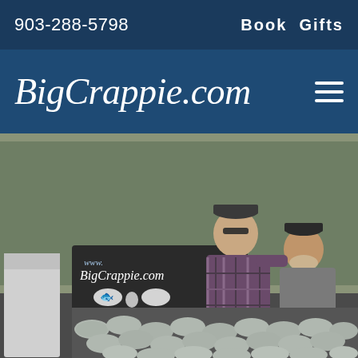903-288-5798   Book  Gifts
BigCrappie.com
[Figure (photo): Two men standing behind a truck bed covered with crappie fish caught during a fishing trip. A BigCrappie.com Fishing Guide & Instruction Service sign is visible with phone number 903.288.5798. Trees visible in background.]